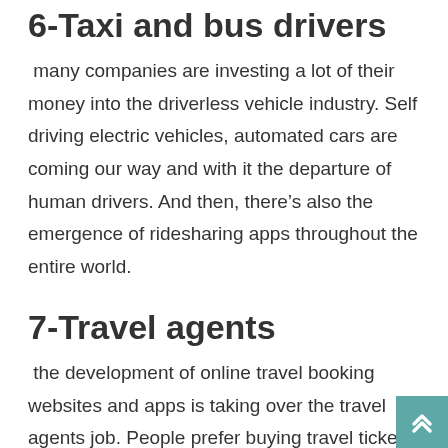6-Taxi and bus drivers
many companies are investing a lot of their money into the driverless vehicle industry. Self driving electric vehicles, automated cars are coming our way and with it the departure of human drivers. And then, there's also the emergence of ridesharing apps throughout the entire world.
7-Travel agents
the development of online travel booking websites and apps is taking over the travel agents job. People prefer buying travel tickets by themselves instead of paying someone else to do it for them. This could be money saving as well, since you don't have to pay an